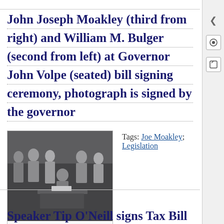John Joseph Moakley (third from right) and William M. Bulger (second from left) at Governor John Volpe (seated) bill signing ceremony, photograph is signed by the governor
[Figure (photo): Black and white photograph of a group of people at a bill signing ceremony. Governor John Volpe is seated at a desk signing a bill, surrounded by several standing officials including John Joseph Moakley and William M. Bulger. A signature appears below the photograph.]
Tags: Joe Moakley; Legislation
Speaker Tip O'Neill signs Tax Bill